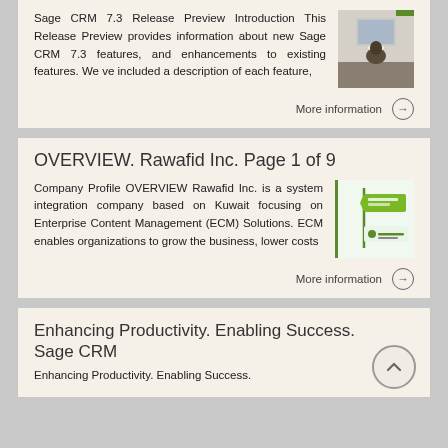Sage CRM 7.3 Release Preview Introduction This Release Preview provides information about new Sage CRM 7.3 features, and enhancements to existing features. We ve included a description of each feature,
[Figure (photo): Photo of a person at a computer workstation, partially visible from behind]
More information →
OVERVIEW. Rawafid Inc. Page 1 of 9
Company Profile OVERVIEW Rawafid Inc. is a system integration company based on Kuwait focusing on Enterprise Content Management (ECM) Solutions. ECM enables organizations to grow the business, lower costs
[Figure (logo): Rawafid Inc. company profile logo/banner with green arrow sign and Rawafid logo]
More information →
Enhancing Productivity. Enabling Success. Sage CRM
Enhancing Productivity. Enabling Success.